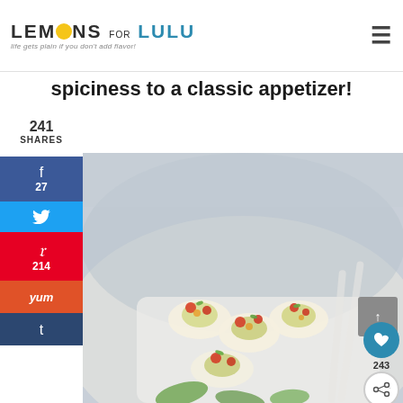[Figure (logo): Lemons for Lulu logo with lemon circle icon and tagline 'life gets plain if you don't add flavor!']
spiciness to a classic appetizer!
241 SHARES
[Figure (photo): Close-up photo of deviled eggs topped with colorful garnishes including red tomatoes, green herbs, and yellow toppings, on a white plate]